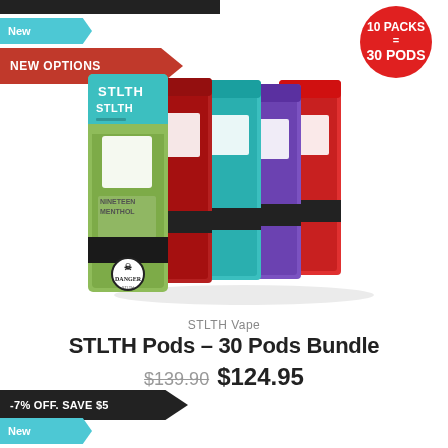[Figure (photo): Product photo of STLTH Vape pod packages in multiple colors (teal/green, red, teal, purple, red) fanned out, with 'New' and 'NEW OPTIONS' ribbon labels and a red circle badge reading '10 PACKS = 30 PODS']
STLTH Vape
STLTH Pods – 30 Pods Bundle
$139.90  $124.95
-7% OFF. SAVE $5
New